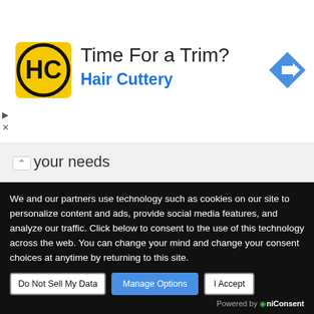[Figure (illustration): Hair Cuttery advertisement banner with logo (HC in black/yellow circle), headline 'Time For a Trim?', subheading 'Hair Cuttery' in blue, and a blue navigation arrow icon on the right.]
your needs
Source: NewsBTC.com
Newsletter
We and our partners use technology such as cookies on our site to personalize content and ads, provide social media features, and analyze our traffic. Click below to consent to the use of this technology across the web. You can change your mind and change your consent choices at anytime by returning to this site.